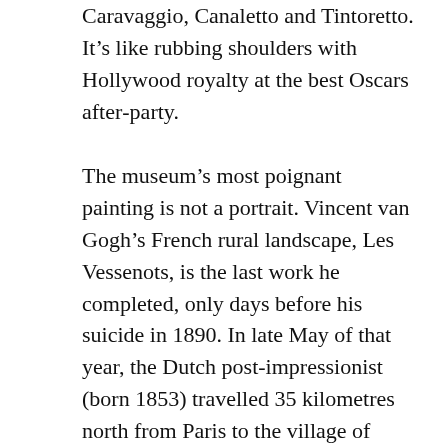Caravaggio, Canaletto and Tintoretto. It’s like rubbing shoulders with Hollywood royalty at the best Oscars after-party.
The museum’s most poignant painting is not a portrait. Vincent van Gogh’s French rural landscape, Les Vessenots, is the last work he completed, only days before his suicide in 1890. In late May of that year, the Dutch post-impressionist (born 1853) travelled 35 kilometres north from Paris to the village of Auvers-sur-Oise. For several weeks he worked outdoors in glorious weather, producing many landscapes, until he surrendered to his demons. On the morning of July 27, Van Gogh put down his paintbrush, lifted a gun and